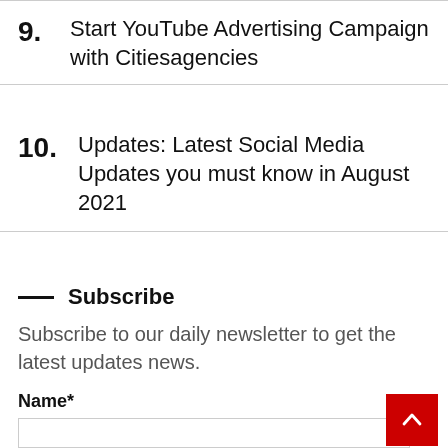9. Start YouTube Advertising Campaign with Citiesagencies
10. Updates: Latest Social Media Updates you must know in August 2021
— Subscribe
Subscribe to our daily newsletter to get the latest updates news.
Name*